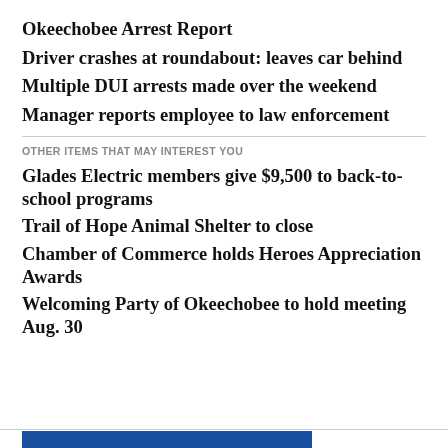Okeechobee Arrest Report
Driver crashes at roundabout: leaves car behind
Multiple DUI arrests made over the weekend
Manager reports employee to law enforcement
OTHER ITEMS THAT MAY INTEREST YOU
Glades Electric members give $9,500 to back-to-school programs
Trail of Hope Animal Shelter to close
Chamber of Commerce holds Heroes Appreciation Awards
Welcoming Party of Okeechobee to hold meeting Aug. 30